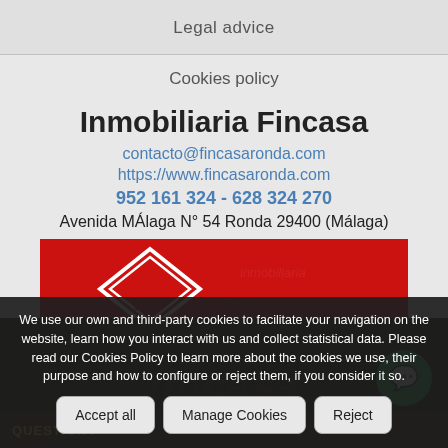Legal advice
Cookies policy
Inmobiliaria Fincasa
contacto@fincasaronda.com
https://www.fincasaronda.com
952 161 324 - 628 324 270
Avenida MÁlaga N° 54 Ronda 29400 (Málaga)
[Figure (logo): Inmobiliaria Fincasa logo — red background with white house/diamond outline and stylized letter f]
We use our own and third-party cookies to facilitate your navigation on the website, learn how you interact with us and collect statistical data. Please read our Cookies Policy to learn more about the cookies we use, their purpose and how to configure or reject them, if you consider it so.
Accept all
Manage Cookies
Reject